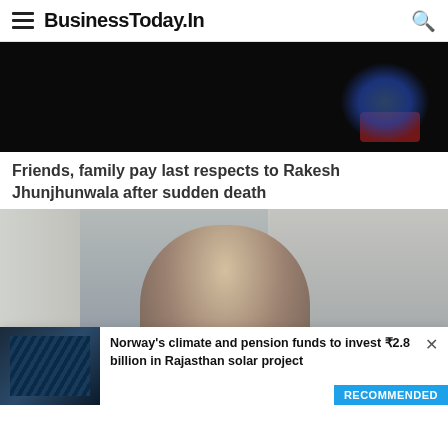BusinessToday.In
[Figure (photo): Dark image showing a person on a motorcycle, mostly in shadow, dark background]
Friends, family pay last respects to Rakesh Jhunjhunwala after sudden death
[Figure (photo): Elderly person in a wheelchair in a building interior, seen through glass panels, grey hair, dark clothing]
Norway's climate and pension funds to invest ₹2.8 billion in Rajasthan solar project
RECOMMENDED